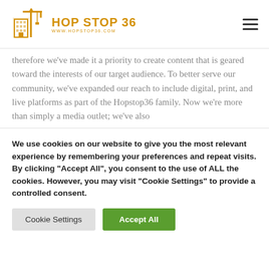HOP STOP 36 | www.hopstop36.com
therefore we've made it a priority to create content that is geared toward the interests of our target audience. To better serve our community, we've expanded our reach to include digital, print, and live platforms as part of the Hopstop36 family. Now we're more than simply a media outlet; we've also
We use cookies on our website to give you the most relevant experience by remembering your preferences and repeat visits. By clicking "Accept All", you consent to the use of ALL the cookies. However, you may visit "Cookie Settings" to provide a controlled consent.
Cookie Settings | Accept All